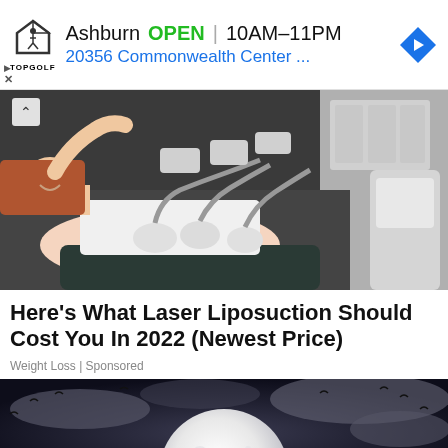[Figure (screenshot): Topgolf advertisement banner showing Ashburn location, OPEN status, hours 10AM-11PM, address 20356 Commonwealth Center, with Topgolf logo and blue navigation arrow icon]
[Figure (photo): Person lying on a treatment table receiving laser liposuction treatment with multiple device applicators placed on abdomen/hip area, white medical equipment in background]
Here's What Laser Liposuction Should Cost You In 2022 (Newest Price)
Weight Loss | Sponsored
[Figure (photo): Dramatic dark sky scene with large full moon and silhouetted birds flying, atmospheric cloudy background]